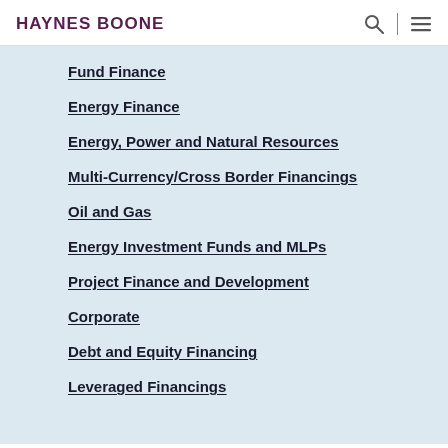HAYNES BOONE
Fund Finance
Energy Finance
Energy, Power and Natural Resources
Multi-Currency/Cross Border Financings
Oil and Gas
Energy Investment Funds and MLPs
Project Finance and Development
Corporate
Debt and Equity Financing
Leveraged Financings